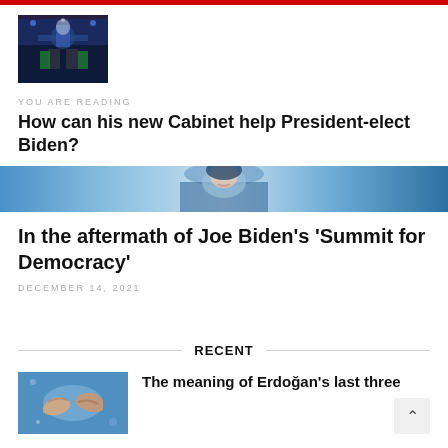[Figure (photo): Dark blue stage scene with figures on a podium, debate or summit setting]
YOU ARE READING
How can his new Cabinet help President-elect Biden?
[Figure (photo): Person wearing blue clothing partially visible, horizontal banner image]
In the aftermath of Joe Biden's 'Summit for Democracy'
DECEMBER 14, 2021
RECENT
[Figure (photo): Two hands clasped together, appears to be a diplomatic or cooperative gesture]
The meaning of Erdoğan's last three